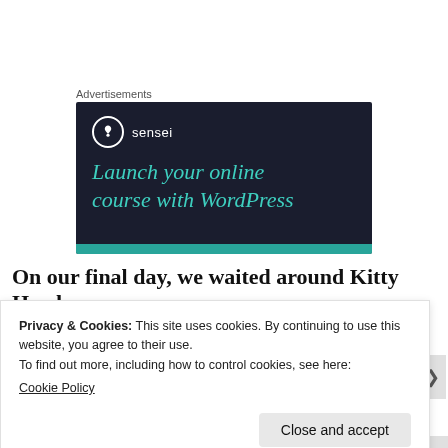Advertisements
[Figure (other): Sensei advertisement banner with dark navy background. Shows Sensei logo (tree icon in white circle) with text 'sensei' and headline 'Launch your online course with WordPress' in teal/mint italic font. Teal bar at bottom.]
On our final day, we waited around Kitty Hawk
Privacy & Cookies: This site uses cookies. By continuing to use this website, you agree to their use.
To find out more, including how to control cookies, see here:
Cookie Policy
Close and accept